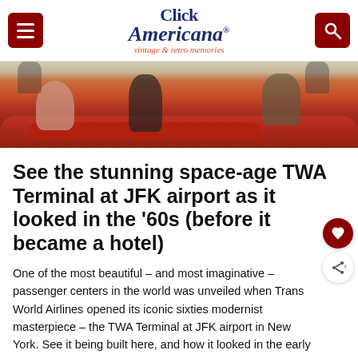Click Americana — vintage & retro memories
[Figure (photo): Vintage photo showing people seated on red curved sofas inside the TWA Terminal at JFK airport, 1960s interior]
See the stunning space-age TWA Terminal at JFK airport as it looked in the '60s (before it became a hotel)
One of the most beautiful – and most imaginative – passenger centers in the world was unveiled when Trans World Airlines opened its iconic sixties modernist masterpiece – the TWA Terminal at JFK airport in New York. See it being built here, and how it looked in the early days.